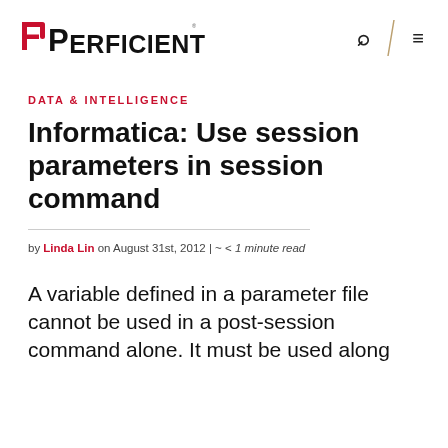PERFICIENT
DATA & INTELLIGENCE
Informatica: Use session parameters in session command
by Linda Lin on August 31st, 2012 | ~ < 1 minute read
A variable defined in a parameter file cannot be used in a post-session command alone. It must be used along with the session parameter like $s_param_name.